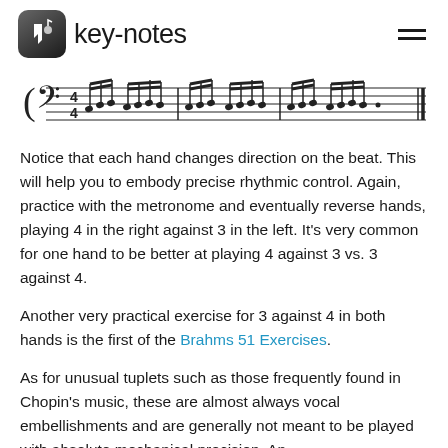key-notes
[Figure (other): Musical staff notation showing a bass clef exercise in 4/4 time with triplet and sixteenth note patterns]
Notice that each hand changes direction on the beat. This will help you to embody precise rhythmic control. Again, practice with the metronome and eventually reverse hands, playing 4 in the right against 3 in the left. It’s very common for one hand to be better at playing 4 against 3 vs. 3 against 4.
Another very practical exercise for 3 against 4 in both hands is the first of the Brahms 51 Exercises.
As for unusual tuplets such as those frequently found in Chopin’s music, these are almost always vocal embellishments and are generally not meant to be played with absolute mechanical precision. An